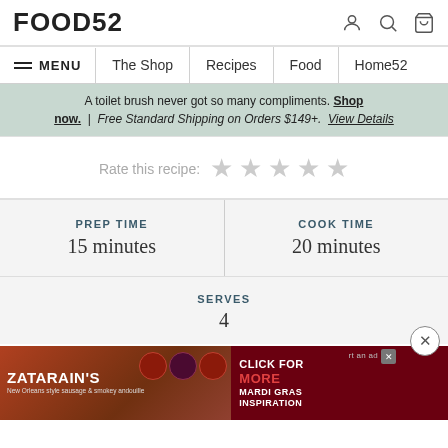FOOD52
MENU | The Shop | Recipes | Food | Home52
A toilet brush never got so many compliments. Shop now. | Free Standard Shipping on Orders $149+. View Details
Rate this recipe: ★ ★ ★ ★ ★
| PREP TIME | COOK TIME |
| --- | --- |
| 15 minutes | 20 minutes |
SERVES
4
[Figure (screenshot): Zatarain's advertisement banner with food images and text: CLICK FOR MORE, MARDI GRAS INSPIRATION]